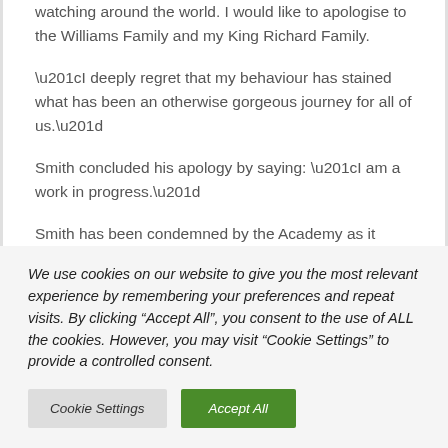watching around the world. I would like to apologise to the Williams Family and my King Richard Family.
“I deeply regret that my behaviour has stained what has been an otherwise gorgeous journey for all of us.”
Smith concluded his apology by saying: “I am a work in progress.”
Smith has been condemned by the Academy as it launched a formal review into his altercation with Rock during the Oscars ceremony.
We use cookies on our website to give you the most relevant experience by remembering your preferences and repeat visits. By clicking “Accept All”, you consent to the use of ALL the cookies. However, you may visit “Cookie Settings” to provide a controlled consent.